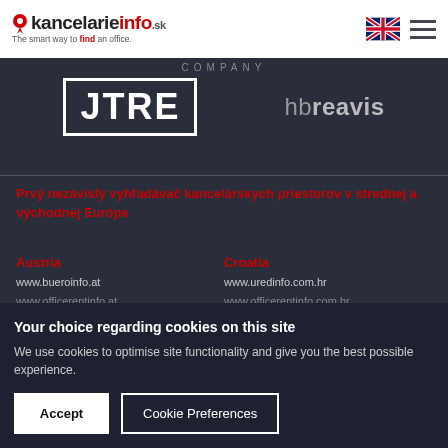kancelarieinfo.sk — The smart way to find an office.
[Figure (logo): JTRE logo in white bold letters with border on dark background]
[Figure (logo): hbreavis logo in grey on dark background]
COMPANY
Prvý nezávislý vyhľadávač kancelárskych priestorov v strednej a východnej Európe
Austria
www.bueroinfo.at
www.officerentinfo.at
Croatia
www.uredinfo.com.hr
www.officerentinfo.com.hr
Your choice regarding cookies on this site
We use cookies to optimise site functionality and give you the best possible experience.
Accept   Cookie Preferences